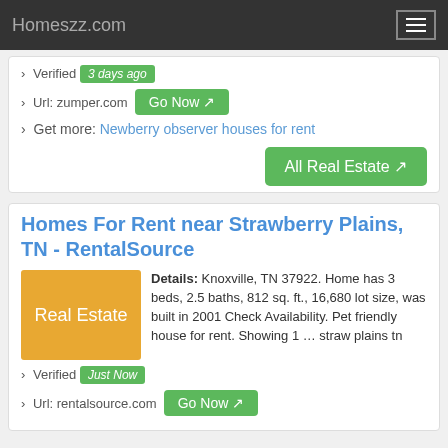Homeszz.com
› Verified 3 days ago
› Url: zumper.com Go Now
› Get more: Newberry observer houses for rent
All Real Estate
Homes For Rent near Strawberry Plains, TN - RentalSource
Details: Knoxville, TN 37922. Home has 3 beds, 2.5 baths, 812 sq. ft., 16,680 lot size, was built in 2001 Check Availability. Pet friendly house for rent. Showing 1 … straw plains tn
› Verified Just Now
› Url: rentalsource.com Go Now